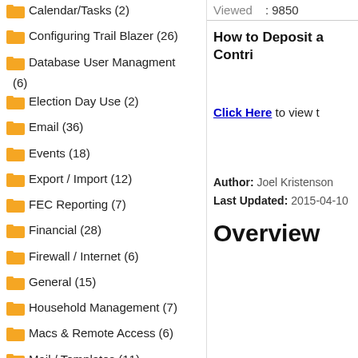Calendar/Tasks (2)
Configuring Trail Blazer (26)
Database User Managment (6)
Election Day Use (2)
Email (36)
Events (18)
Export / Import (12)
FEC Reporting (7)
Financial (28)
Firewall / Internet (6)
General (15)
Household Management (7)
Macs & Remote Access (6)
Mail / Templates (11)
Membership Management (1)
Viewed : 9850
How to Deposit a Contri
Click Here to view t
Author: Joel Kristenson
Last Updated: 2015-04-10
Overview